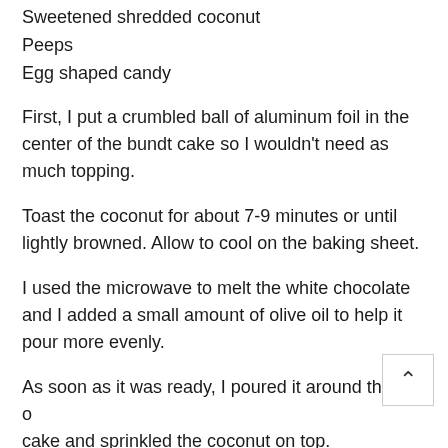Sweetened shredded coconut
Peeps
Egg shaped candy
First, I put a crumbled ball of aluminum foil in the center of the bundt cake so I wouldn't need as much topping.
Toast the coconut for about 7-9 minutes or until lightly browned. Allow to cool on the baking sheet.
I used the microwave to melt the white chocolate and I added a small amount of olive oil to help it pour more evenly.
As soon as it was ready, I poured it around the top of the cake and sprinkled the coconut on top.